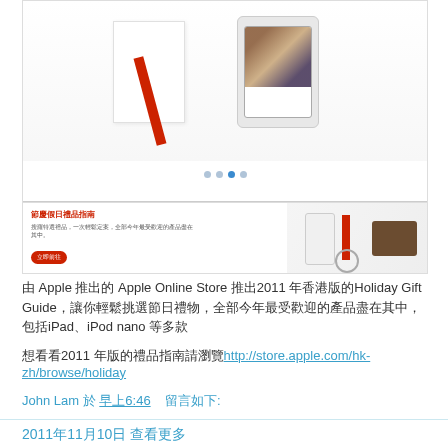[Figure (screenshot): Screenshot of Apple Online Store Holiday Gift Guide page showing an iPad in a gift box, product carousel dots, a holiday gift banner section with Chinese text and products (white device, red strip, brown wallet, earphones), and a browser navigation bar with back/forward/share/bookmark/tabs icons.]
由 Apple 推出的 Apple Online Store 推出2011 年香港版的Holiday Gift Guide，讓你輕鬆挑選節日禮物，全部今年最受歡迎的產品盡在其中，包括iPad、iPod nano 等多款
想看看2011 年版的禮品指南請瀏覽http://store.apple.com/hk-zh/browse/holiday
John Lam 於 早上6:46    留言如下:
回覆
2011年11月10日 查看更多